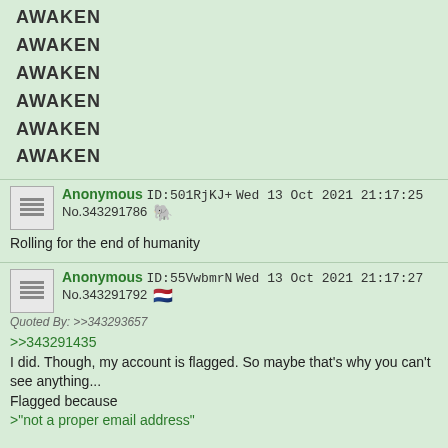AWAKEN
AWAKEN
AWAKEN
AWAKEN
AWAKEN
AWAKEN
Anonymous ID:501RjKJ+ Wed 13 Oct 2021 21:17:25 No.343291786
Rolling for the end of humanity
Anonymous ID:55VwbmrN Wed 13 Oct 2021 21:17:27 No.343291792
Quoted By: >>343293657
>>343291435
I did. Though, my account is flagged. So maybe that's why you can't see anything...
Flagged because
>"not a proper email address"

Give me a minute and I'll try and fix that.
Anonymous ID:Vbq05iwW Wed 13 Oct 2021 21:17:33 No.343291801
>>343291684